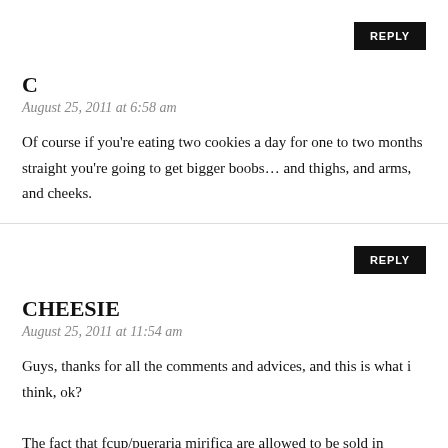REPLY
C
August 25, 2011 at 6:58 am
Of course if you're eating two cookies a day for one to two months straight you're going to get bigger boobs… and thighs, and arms, and cheeks.
REPLY
CHEESIE
August 25, 2011 at 11:54 am
Guys, thanks for all the comments and advices, and this is what i think, ok?
The fact that fcup/pueraria mirifica are allowed to be sold in